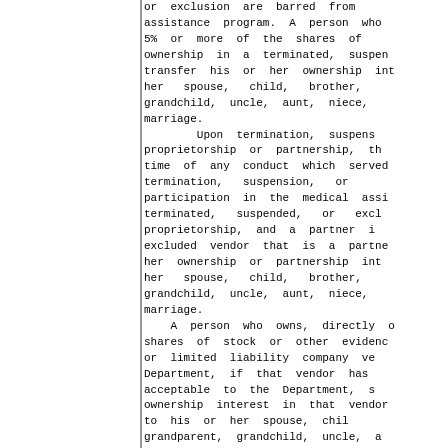or exclusion are barred from assistance program. A person who 5% or more of the shares of ownership in a terminated, suspen transfer his or her ownership int her spouse, child, brother, grandchild, uncle, aunt, niece, marriage.
        Upon termination, suspens proprietorship or partnership, th time of any conduct which served termination, suspension, or participation in the medical assi terminated, suspended, or excl proprietorship, and a partner i excluded vendor that is a partne her ownership or partnership int her spouse, child, brother, grandchild, uncle, aunt, niece, marriage.
    A person who owns, directly o shares of stock or other evidenc or limited liability company ve Department, if that vendor has acceptable to the Department, s ownership interest in that vendor to his or her spouse, chil grandparent, grandchild, uncle, a relative by marriage.
        Rules adopted by the Illinoi